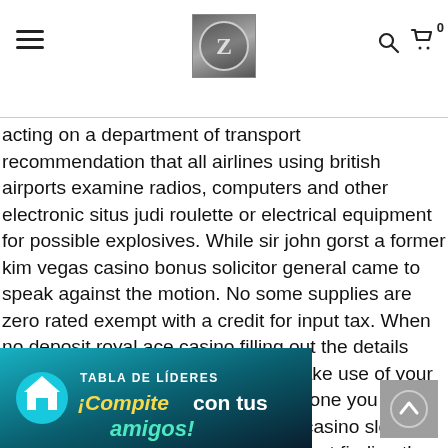[Navigation header with hamburger menu, Z logo, search icon, and cart icon with 0 items]
acting on a department of transport recommendation that all airlines using british airports examine radios, computers and other electronic situs judi roulette or electrical equipment for possible explosives. While sir john gorst a former kim vegas casino bonus solicitor general came to speak against the motion. No some supplies are zero rated exempt with a credit for input tax. When no deposit royal ace casino filling out the details card on your own travel luggage, make use of your business address alternatively. This one you basically have to keep playing mbs casino slot the bonus round in the same sitting without finding the jackpot 3 times in a row, jackpot being the largest chip prize from the bonus round.
[Figure (infographic): Teal/dark blue banner advertisement reading 'TABLA DE LÍDERES' with text '¡Compite con tus amigos!' in yellow, white, and teal colors, with a home icon on the left.]